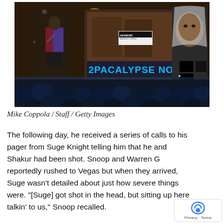[Figure (photo): Concert/awards show photo: a man in a colorful jacket standing on stage with large screens behind him showing '2PACALYPSE NOW' album artwork and a portrait of Tupac Shakur. An audience is visible in the foreground in blue lighting.]
Mike Coppola / Staff / Getty Images
The following day, he received a series of calls to his pager from Suge Knight telling him that he and Shakur had been shot. Snoop and Warren G reportedly rushed to Vegas but when they arrived, Suge wasn't detailed about just how severe things were. "[Suge] got shot in the head, but sitting up here talkin' to us," Snoop recalled.